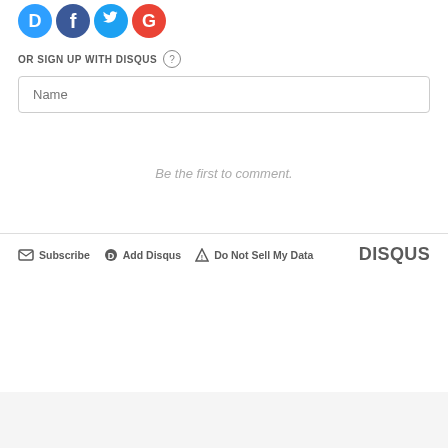[Figure (logo): Social login icons: Disqus (blue), Facebook (blue), Twitter (light blue), Google (red) circular icons]
OR SIGN UP WITH DISQUS ?
Name
Be the first to comment.
Subscribe   Add Disqus   Do Not Sell My Data   DISQUS